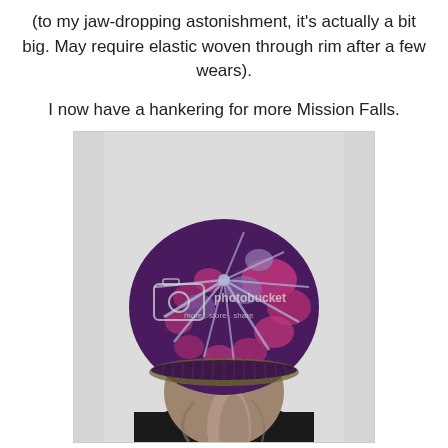(to my jaw-dropping astonishment, it's actually a bit big. May require elastic woven through rim after a few wears).
I now have a hankering for more Mission Falls.
[Figure (photo): A person seen from behind wearing a hand-knitted colorwork beret in shades of dark purple, magenta/pink, light grey/blue, with a ribbed brim and decorative stitch lines radiating from the crown. The person has long greyish-brown hair in a ponytail. A Photobucket watermark is visible in the center of the image.]